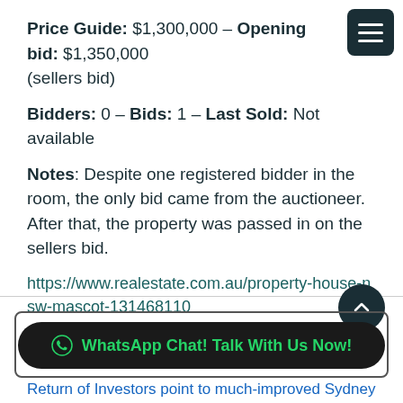Price Guide: $1,300,000 – Opening bid: $1,350,000 (sellers bid)
Bidders: 0 – Bids: 1 – Last Sold: Not available
Notes: Despite one registered bidder in the room, the only bid came from the auctioneer. After that, the property was passed in on the sellers bid.
https://www.realestate.com.au/property-house-nsw-mascot-131468110
Return of Investors point to much-improved Sydney